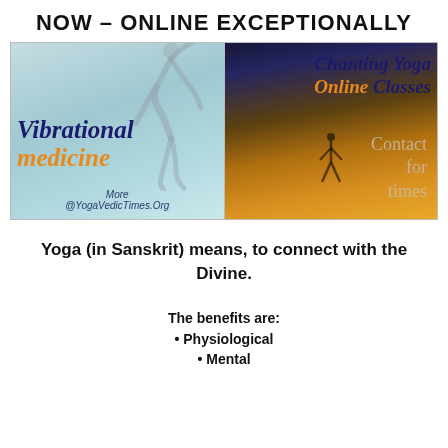NOW – ONLINE EXCEPTIONALLY
[Figure (illustration): Two-panel promotional image. Left panel: light blue/teal background with a dancer silhouette and text 'Vibrational medicine' (medicine in orange italic) and 'More @YogaVedicTimes.Org'. Right panel: warm sunset background with a yoga person silhouette on a peak, text 'Chanting Yoga Online Classes' (Online in orange) and 'Contact for times'.]
Yoga (in Sanskrit) means, to connect with the Divine.
The benefits are:
Physiological
Mental